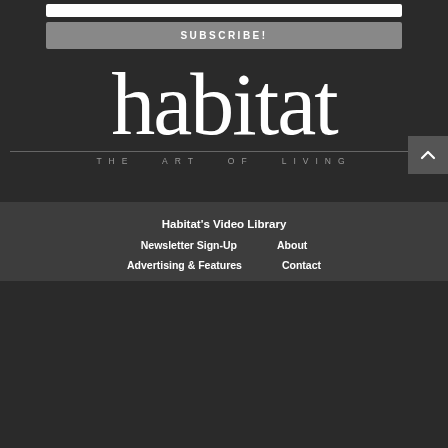[Figure (other): Input field (white bar) for newsletter/subscription form]
SUBSCRIBE!
[Figure (logo): Habitat magazine logo: large serif 'habitat' text with tagline 'THE ART OF LIVING' below a horizontal rule]
Habitat's Video Library | Newsletter Sign-Up | About | Advertising & Features | Contact